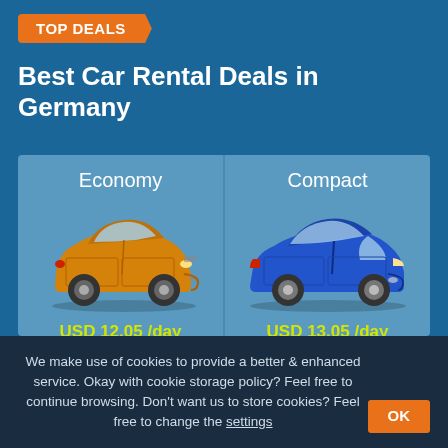TOP DEALS
Best Car Rental Deals in Germany
[Figure (illustration): Two car rental deal cards side by side on a blue background. Left card shows an orange economy hatchback car (Hyundai i10 style) labeled 'Economy' priced at USD 12.05 /day. Right card shows a blue compact sedan (Nissan Versa style) labeled 'Compact' priced at USD 13.05 /day.]
We make use of cookies to provide a better & enhanced service. Okay with cookie storage policy? Feel free to continue browsing. Don't want us to store cookies? Feel free to change the settings
OK